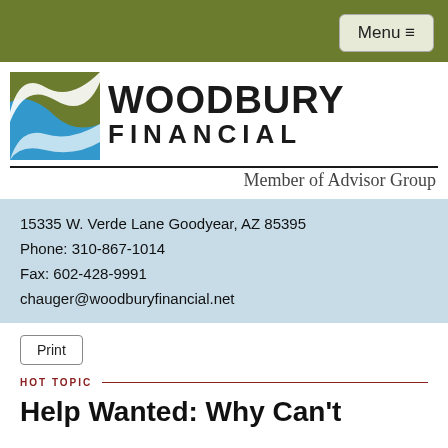Menu
[Figure (logo): Woodbury Financial logo with green and blue S-curve graphic, text WOODBURY FINANCIAL, Member of Advisor Group]
15335 W. Verde Lane Goodyear, AZ 85395
Phone: 310-867-1014
Fax: 602-428-9991
chauger@woodburyfinancial.net
Print
HOT TOPIC
Help Wanted: Why Can't